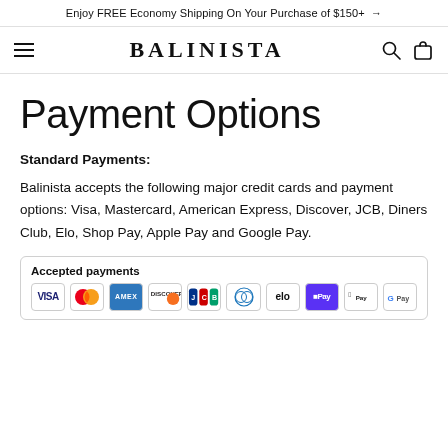Enjoy FREE Economy Shipping On Your Purchase of $150+ →
[Figure (logo): Balinista navigation bar with hamburger menu, BALINISTA logo, search icon, and bag icon]
Payment Options
Standard Payments:
Balinista accepts the following major credit cards and payment options: Visa, Mastercard, American Express, Discover, JCB, Diners Club, Elo, Shop Pay, Apple Pay and Google Pay.
[Figure (infographic): Accepted payments box showing payment card icons: VISA, Mastercard, AMEX, Discover, JCB, Diners Club, Elo, Shop Pay (DPay), Apple Pay, G Pay]